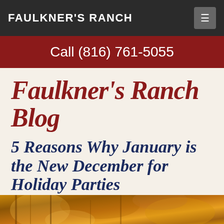FAULKNER'S RANCH
Call (816) 761-5055
Faulkner's Ranch Blog
5 Reasons Why January is the New December for Holiday Parties
Posted on December 7, 2016
[Figure (photo): Partial view of a warm-toned photograph, likely showing holiday/party scene with golden/amber colors]